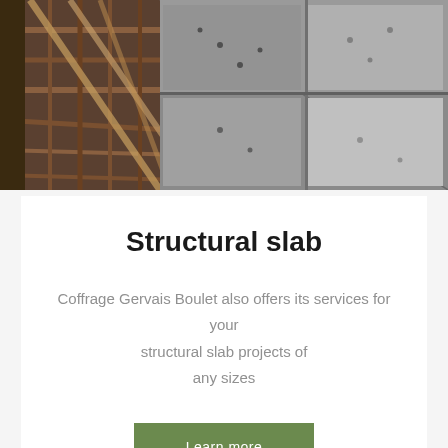[Figure (photo): Aerial/overhead construction site photo showing structural slab formwork with metal rebar framework, wooden planks, concrete walls and sections viewed from above]
Structural slab
Coffrage Gervais Boulet also offers its services for your structural slab projects of any sizes
Learn more